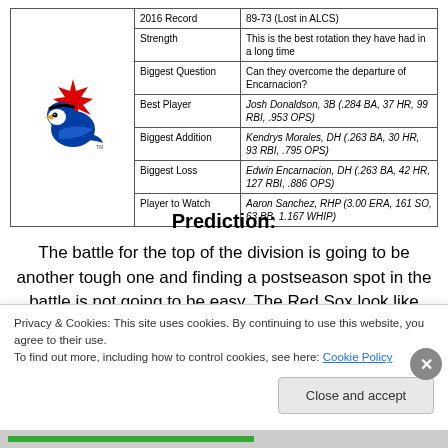|  | Category | Detail |
| --- | --- | --- |
| [logo] | 2016 Record | 89-73 (Lost in ALCS) |
|  | Strength | This is the best rotation they have had in a long time |
|  | Biggest Question | Can they overcome the departure of Encarnacion? |
|  | Best Player | Josh Donaldson, 3B (.284 BA, 37 HR, 99 RBI, .953 OPS) |
|  | Biggest Addition | Kendrys Morales, DH (.263 BA, 30 HR, 93 RBI, .795 OPS) |
|  | Biggest Loss | Edwin Encarnacion, DH (.263 BA, 42 HR, 127 RBI, .886 OPS) |
|  | Player to Watch | Aaron Sanchez, RHP (3.00 ERA, 161 SO, 63 BB, 1.167 WHIP) |
Prediction:
The battle for the top of the division is going to be another tough one and finding a postseason spot in the battle is not going to be easy. The Red Sox look like the early favourite as a few key additions have only strengthened them. They will make a serious run at the division and will
Privacy & Cookies: This site uses cookies. By continuing to use this website, you agree to their use.
To find out more, including how to control cookies, see here: Cookie Policy